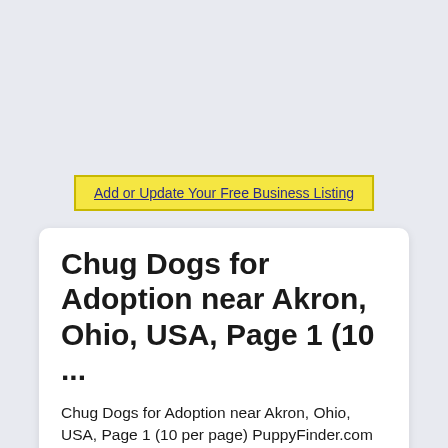[Figure (other): Yellow button with blue underlined text: Add or Update Your Free Business Listing]
Chug Dogs for Adoption near Akron, Ohio, USA, Page 1 (10 ...
Chug Dogs for Adoption near Akron, Ohio, USA, Page 1 (10 per page) PuppyFinder.com is proud to be a part of the online adoption community. Browse thru thousands of Chug Dogs for Adoption near Akron, Ohio, USA area , listed by Dog Rescue Organizations and